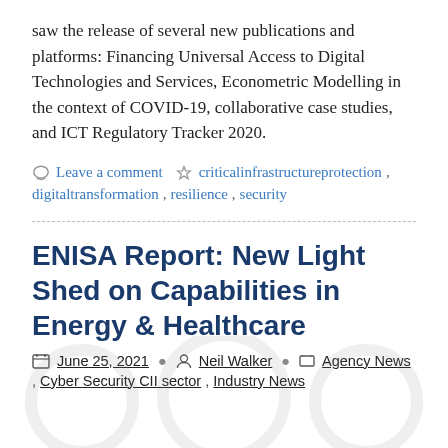saw the release of several new publications and platforms: Financing Universal Access to Digital Technologies and Services, Econometric Modelling in the context of COVID-19, collaborative case studies, and ICT Regulatory Tracker 2020.
Leave a comment  criticalinfrastructureprotection, digitaltransformation, resilience, security
ENISA Report: New Light Shed on Capabilities in Energy & Healthcare
June 25, 2021  Neil Walker  Agency News, Cyber Security CII sector, Industry News